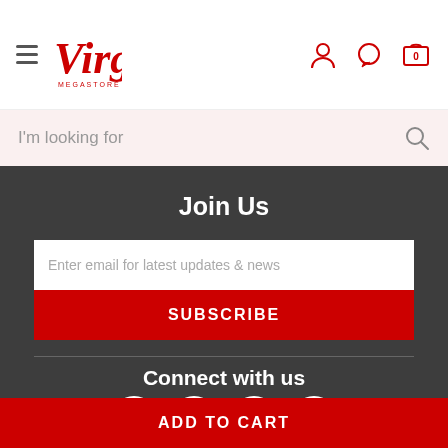[Figure (logo): Virgin Megastore logo with hamburger menu icon on the left and user account, chat, and cart icons on the right]
I'm looking for
Join Us
Enter email for latest updates & news
SUBSCRIBE
Connect with us
[Figure (illustration): Social media icons: Snapchat, Instagram, Facebook, Twitter]
ADD TO CART